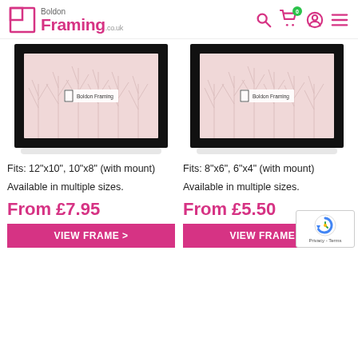Boldon Framing .co.uk
[Figure (photo): Black photo frame with pale pink tree branch print background and Boldon Framing watermark label – left product]
Fits: 12"x10", 10"x8" (with mount)
Available in multiple sizes.
From £7.95
VIEW FRAME >
[Figure (photo): Black photo frame with pale pink tree branch print background and Boldon Framing watermark label – right product]
Fits: 8"x6", 6"x4" (with mount)
Available in multiple sizes.
From £5.50
VIEW FRAME >